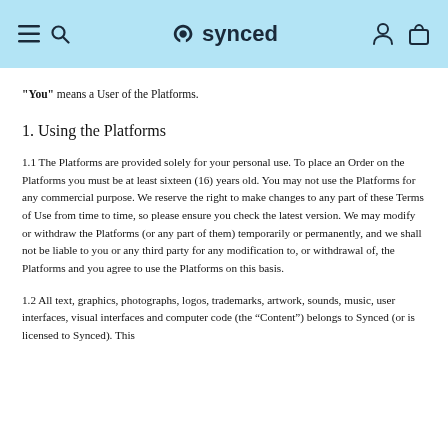synced
“You” means a User of the Platforms.
1. Using the Platforms
1.1 The Platforms are provided solely for your personal use. To place an Order on the Platforms you must be at least sixteen (16) years old. You may not use the Platforms for any commercial purpose. We reserve the right to make changes to any part of these Terms of Use from time to time, so please ensure you check the latest version. We may modify or withdraw the Platforms (or any part of them) temporarily or permanently, and we shall not be liable to you or any third party for any modification to, or withdrawal of, the Platforms and you agree to use the Platforms on this basis.
1.2 All text, graphics, photographs, logos, trademarks, artwork, sounds, music, user interfaces, visual interfaces and computer code (the “Content”) belongs to Synced (or is licensed to Synced). This